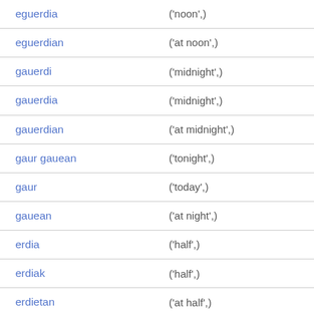| term | definition |
| --- | --- |
| eguerdia | ('noon',) |
| eguerdian | ('at noon',) |
| gauerdi | ('midnight',) |
| gauerdia | ('midnight',) |
| gauerdian | ('at midnight',) |
| gaur gauean | ('tonight',) |
| gaur | ('today',) |
| gauean | ('at night',) |
| erdia | ('half',) |
| erdiak | ('half',) |
| erdietan | ('at half',) |